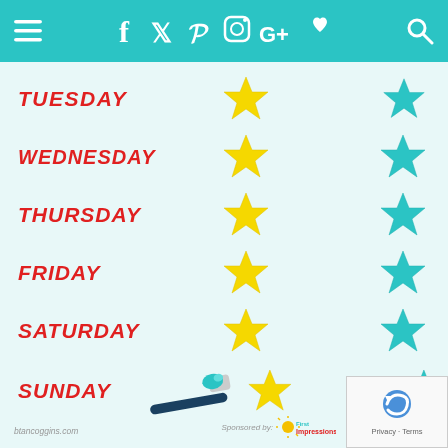[Figure (screenshot): Website header bar with teal background showing hamburger menu, social media icons (Facebook, Twitter, Pinterest, Instagram, Google+, heart), and search icon]
[Figure (infographic): Weekly chart with days Tuesday through Sunday listed in red italic bold text, each row having a yellow star and a teal star, with a toothbrush illustration next to Sunday, watermark 'btancoggins.com', and 'Sponsored by: First Impressions' logo in bottom right. ReCAPTCHA badge in bottom-right corner.]